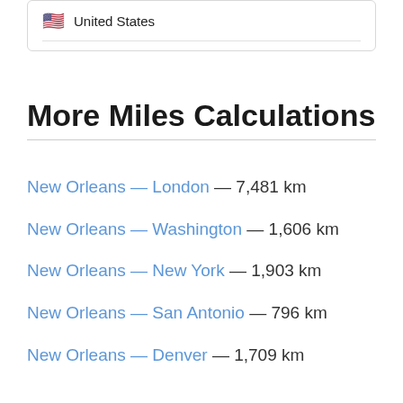United States
More Miles Calculations
New Orleans — London — 7,481 km
New Orleans — Washington — 1,606 km
New Orleans — New York — 1,903 km
New Orleans — San Antonio — 796 km
New Orleans — Denver — 1,709 km